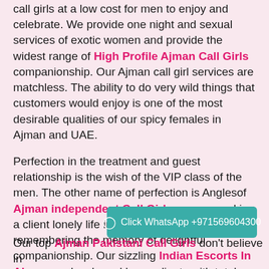call girls at a low cost for men to enjoy and celebrate. We provide one night and sexual services of exotic women and provide the widest range of High Profile Ajman Call Girls companionship. Our Ajman call girl services are matchless. The ability to do very wild things that customers would enjoy is one of the most desirable qualities of our spicy females in Ajman and UAE.
Perfection in the treatment and guest relationship is the wish of the VIP class of the men. The other name of perfection is Anglesof Ajman independent Call Girls agency, making a client lonely life interesting and leaving back remembering the memory of delightful companionship. Our sizzling Indian Escorts In Ajman are lovely and leave clients with total relaxation. They give them the utmost satisfaction. In terms of actions, the carnal pleasure- giving agency has a lot of choices, as well as the client can choose from a wide range of bold fem
Click WhatsApp +971569604300
Our top Ajman Pakistani Call Girls don't believe in